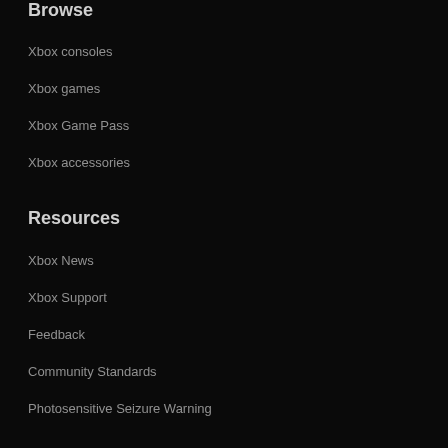Browse
Xbox consoles
Xbox games
Xbox Game Pass
Xbox accessories
Resources
Xbox News
Xbox Support
Feedback
Community Standards
Photosensitive Seizure Warning
Microsoft Store
Microsoft account